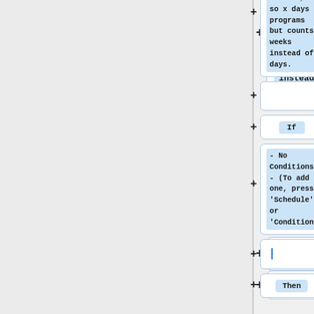[Figure (screenshot): A UI screenshot showing a flow/automation builder interface. Left panel is gray/empty. Right side shows a vertical list of blocks with '+' buttons between them. First visible block (partially cut off at top) contains monospace text: 'the every so x days programs but counts weeks instead of days.' The second block is an empty text input. The third block shows 'If' label. The fourth block contains text: '- No Conditions - (To add one, press Schedule or Condition)'. The fifth block is an empty text input. The sixth block shows 'Then' label.]